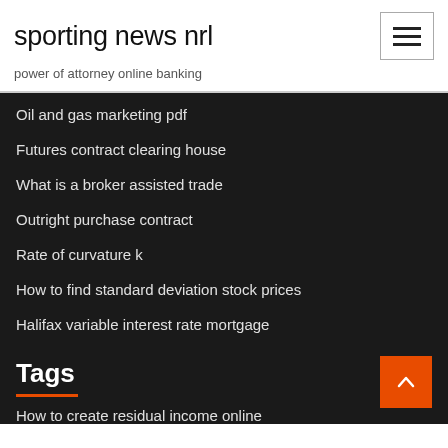sporting news nrl
power of attorney online banking
Oil and gas marketing pdf
Futures contract clearing house
What is a broker assisted trade
Outright purchase contract
Rate of curvature k
How to find standard deviation stock prices
Halifax variable interest rate mortgage
Tags
How to create residual income online